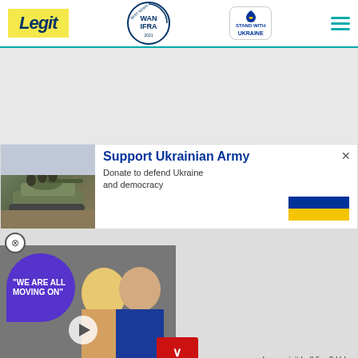[Figure (logo): Legit news website logo in yellow background with blue italic text]
[Figure (logo): WAN IFRA 2021 Best News Website in Africa circular badge]
[Figure (logo): Stand With Ukraine badge with heart icon]
[Figure (other): Hamburger menu icon with three teal horizontal lines]
[Figure (photo): Advertisement photo: soldiers on a tank, Support Ukrainian Army — Donate to defend Ukraine and democracy, with Ukrainian flag colors]
[Figure (photo): Video thumbnail: purple bubble with text WE ARE ALL MOVING ON, two people — man in blue jacket and woman with blonde hair, play button overlay]
[Figure (logo): EXCELL CONSULTING bottom advertisement — Construction Contract Claims, Construction Claims Management, Call Us button]